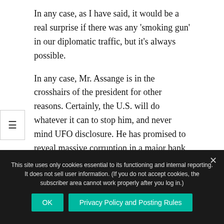In any case, as I have said, it would be a real surprise if there was any ‘smoking gun’ in our diplomatic traffic, but it’s always possible.
In any case, Mr. Assange is in the crosshairs of the president for other reasons. Certainly, the U.S. will do whatever it can to stop him, and never mind UFO disclosure. He has promised to reveal massive corruption in a major bank, which is much more worrisome to the government than the release of diplomatic cables, because it could lead to profound economic consqeuences as the true extent to which our system has broken down becomes clear to the public.
This site uses only cookies essential to its functioning and internal reporting. It does not sell user information. (If you do not accept cookies, the subscriber area cannot work properly after you log in.)